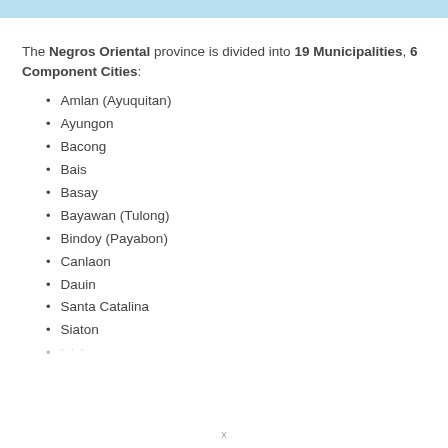The Negros Oriental province is divided into 19 Municipalities, 6 Component Cities:
Amlan (Ayuquitan)
Ayungon
Bacong
Bais
Basay
Bayawan (Tulong)
Bindoy (Payabon)
Canlaon
Dauin
Santa Catalina
Siaton